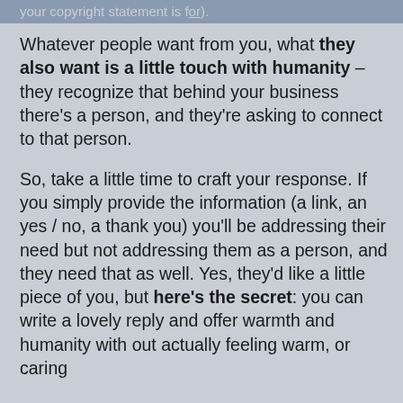your copyright statement is for).
Whatever people want from you, what they also want is a little touch with humanity – they recognize that behind your business there's a person, and they're asking to connect to that person.
So, take a little time to craft your response. If you simply provide the information (a link, an yes / no, a thank you) you'll be addressing their need but not addressing them as a person, and they need that as well. Yes, they'd like a little piece of you, but here's the secret: you can write a lovely reply and offer warmth and humanity without actually feeling warm or caring